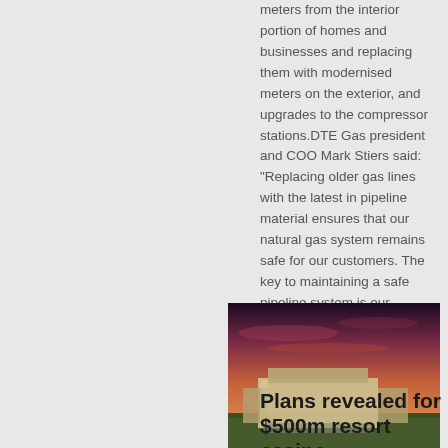meters from the interior portion of homes and businesses and replacing them with modernised meters on the exterior, and upgrades to the compressor stations.DTE Gas president and COO Mark Stiers said: "Replacing older gas lines with the latest in pipeline material ensures that our natural gas system remains safe for our customers. The key to maintaining a safe pipeline system is our regular inspections and maintenance of the lines."
[Figure (photo): Aerial rendering of a large resort casino building at sunset, with dramatic sky in orange and purple hues, surrounded by green landscape.]
Plans revealed for $500m resort casino